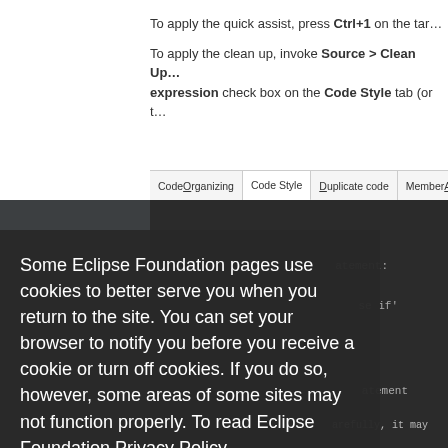To apply the quick assist, press Ctrl+1 on the tar…
To apply the clean up, invoke Source > Clean Up… expression check box on the Code Style tab (or t…
[Figure (screenshot): Eclipse IDE tab bar showing tabs: Code Organizing, Code Style (active), Duplicate code, Member Accesses, M…]
[Figure (screenshot): Dark Eclipse editor area with code visible in background]
Some Eclipse Foundation pages use cookies to better serve you when you return to the site. You can set your browser to notify you before you receive a cookie or turn off cookies. If you do so, however, some areas of some sites may not function properly. To read Eclipse Foundation Privacy Policy click here.
[Figure (screenshot): Cookie consent modal with Decline and Allow cookies buttons on dark background overlay]